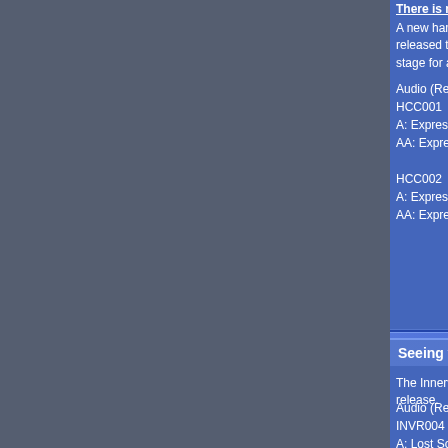There is no collections into hardcore collections
A new hardcore label headed up by the Nu Energy Collective c... released their release schedule and audio for the first two relea... stage for a very interesting new label!
Audio (Real Audio):
HCC001
A: Expression - Golden Child (Original Mix)
AA: Expression - Golden Child (Sy and Unknown Remix)

HCC002
A: Expression - Shelter Me (Original Mix)
AA: Expression - Shelter Me (Gammer Remix)
[Figure (logo): Hardcore Collective logo with stylized letters and neon effect on dark background, caption: Hardcore Colle...]
Seeing with Inner vision
The Innervision crew have put together their latest creation and... release.
Audio (Real Audio)
INVR004
A: Lost Soul - Lemme Hear Ya
AA: Lost Soul - Genocide
Competition: Next Generation - The collective v.2